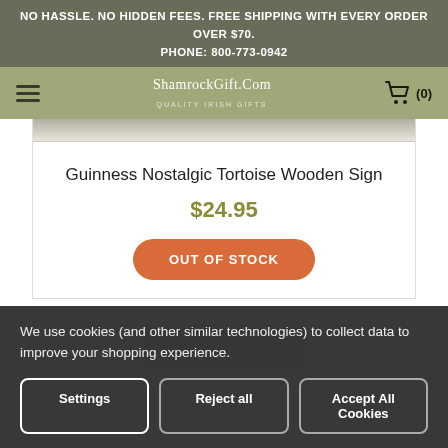NO HASSLE. NO HIDDEN FEES. FREE SHIPPING WITH EVERY ORDER OVER $70.
PHONE: 800-773-0942
ShamrockGift.Com QUALITY IRISH GIFTS
[Figure (screenshot): Partial product image at top of card, cropped]
Guinness Nostalgic Tortoise Wooden Sign
$24.95
OUT OF STOCK
[Figure (screenshot): Bottom of second product card, cropped image stub visible]
We use cookies (and other similar technologies) to collect data to improve your shopping experience.
Settings
Reject all
Accept All Cookies